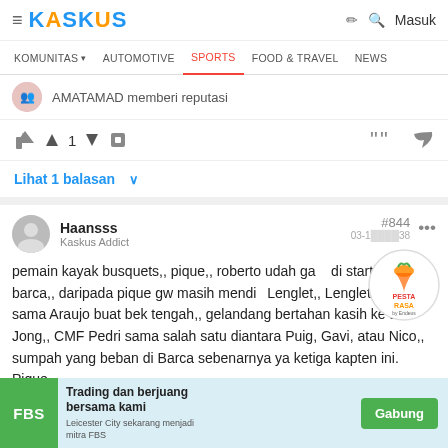KASKUS | Masuk
KOMUNITAS | AUTOMOTIVE | SPORTS | FOOD & TRAVEL | NEWS
AMATAMAD memberi reputasi
↑ 1 ↓
Lihat 1 balasan
Haansss #844 ... Kaskus Addict 03-1... ...38
pemain kayak busquets,, pique,, roberto udah ga di starting barca,, daripada pique gw masih mendukung Lenglet,, Lenglet duet sama Araujo buat bek tengah,, gelandang bertahan kasih ke De Jong,, CMF Pedri sama salah satu diantara Puig, Gavi, atau Nico,, sumpah yang beban di Barca sebenarnya ya ketiga kapten ini. Pique
[Figure (logo): Pesta Rasa by Endeus logo badge]
Trading dan berjuang bersama kami | FBS | Leicester City sekarang menjadi mitra FBS | Gabung